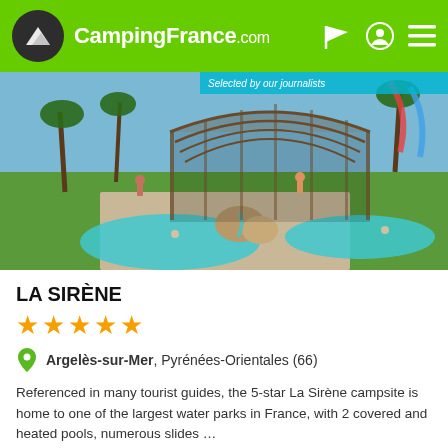CampingFrance.com
[Figure (photo): Outdoor water park at La Sirène campsite with a large covered pool structure, palm trees, tropical rock features, pools with children, slides, and sunbathers on green lawns.]
LA SIRÈNE
★★★★★
Argelès-sur-Mer, Pyrénées-Orientales (66)
Referenced in many tourist guides, the 5-star La Sirène campsite is home to one of the largest water parks in France, with 2 covered and heated pools, numerous slides …
[Figure (logo): Les plus beaux Campings de France badge — black background with italic white/grey text]